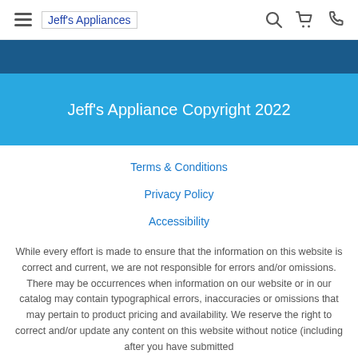Jeff's Appliances
Jeff's Appliance Copyright 2022
Terms & Conditions
Privacy Policy
Accessibility
While every effort is made to ensure that the information on this website is correct and current, we are not responsible for errors and/or omissions. There may be occurrences when information on our website or in our catalog may contain typographical errors, inaccuracies or omissions that may pertain to product pricing and availability. We reserve the right to correct and/or update any content on this website without notice (including after you have submitted